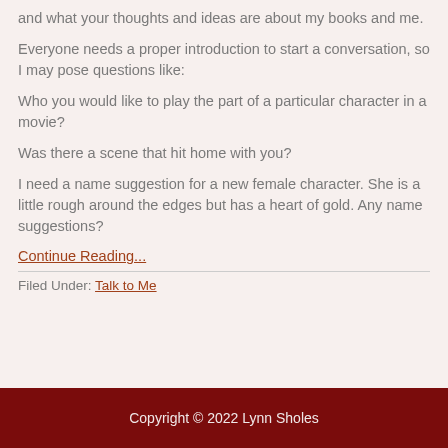and what your thoughts and ideas are about my books and me.
Everyone needs a proper introduction to start a conversation, so I may pose questions like:
Who you would like to play the part of a particular character in a movie?
Was there a scene that hit home with you?
I need a name suggestion for a new female character. She is a little rough around the edges but has a heart of gold. Any name suggestions?
Continue Reading...
Filed Under: Talk to Me
Copyright © 2022 Lynn Sholes